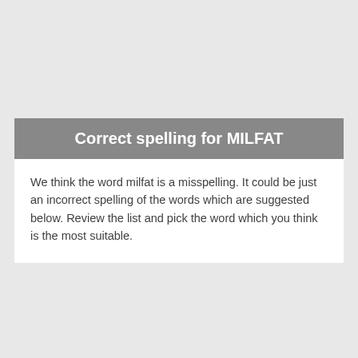Correct spelling for MILFAT
We think the word milfat is a misspelling. It could be just an incorrect spelling of the words which are suggested below. Review the list and pick the word which you think is the most suitable.